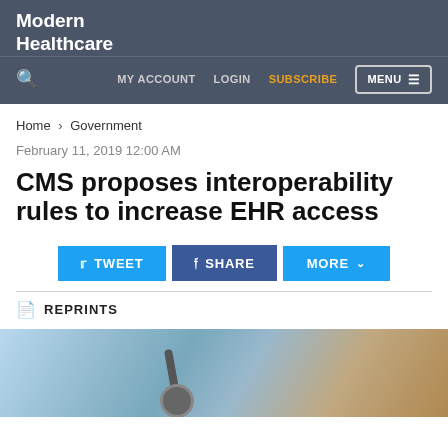Modern Healthcare
MY ACCOUNT  LOGIN  SUBSCRIBE  MENU
Home > Government
February 11, 2019 12:00 AM
CMS proposes interoperability rules to increase EHR access
TWEET  SHARE  MORE
REPRINTS
[Figure (photo): Close-up photo of a healthcare professional in light blue scrubs with a stethoscope visible]